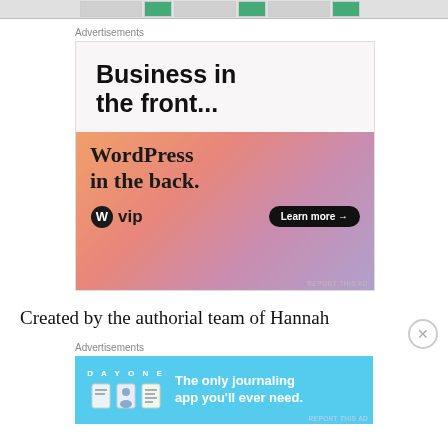[Figure (screenshot): Top navigation bar with partial thumbnails visible]
Advertisements
[Figure (illustration): WordPress VIP advertisement. Top half white background with text 'Business in the front...' in bold black. Bottom half gradient orange-pink-purple with text 'WordPress in the back.' and WordPress VIP logo and 'Learn more →' button.]
Created by the authorial team of Hannah
Advertisements
[Figure (illustration): Day One journaling app advertisement on light blue background with 'DAY ONE' text, app icons, and 'The only journaling app you'll ever need.']